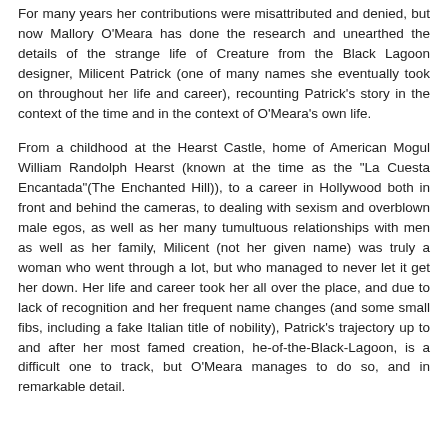For many years her contributions were misattributed and denied, but now Mallory O'Meara has done the research and unearthed the details of the strange life of Creature from the Black Lagoon designer, Milicent Patrick (one of many names she eventually took on throughout her life and career), recounting Patrick's story in the context of the time and in the context of O'Meara's own life.
From a childhood at the Hearst Castle, home of American Mogul William Randolph Hearst (known at the time as the "La Cuesta Encantada"(The Enchanted Hill)), to a career in Hollywood both in front and behind the cameras, to dealing with sexism and overblown male egos, as well as her many tumultuous relationships with men as well as her family, Milicent (not her given name) was truly a woman who went through a lot, but who managed to never let it get her down. Her life and career took her all over the place, and due to lack of recognition and her frequent name changes (and some small fibs, including a fake Italian title of nobility), Patrick's trajectory up to and after her most famed creation, he-of-the-Black-Lagoon, is a difficult one to track, but O'Meara manages to do so, and in remarkable detail.